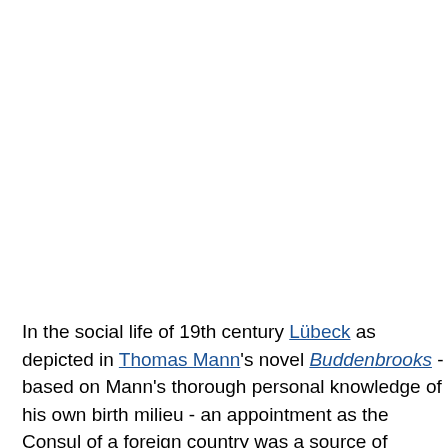In the social life of 19th century Lübeck as depicted in Thomas Mann's novel Buddenbrooks - based on Mann's thorough personal knowledge of his own birth milieu - an appointment as the Consul of a foreign country was a source of considerable social prestige among the city's merchant elite. As depicted in the book, the position of a Consul for a particular country was in practice hereditary in a specific family, whose mansion bore the represented country's coat of arms, and with that country confirming the Consul's